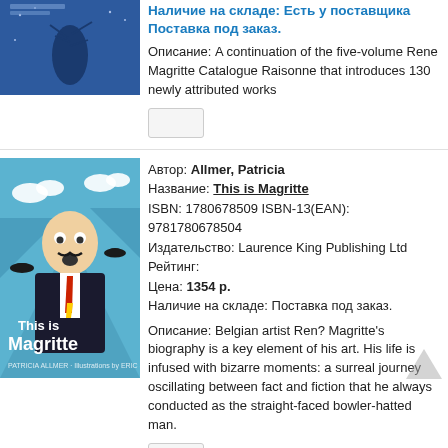[Figure (illustration): Book cover with dark blue background showing a plant/tree silhouette]
Наличие на складе: Есть у поставщика Поставка под заказ.
Описание: A continuation of the five-volume Rene Magritte Catalogue Raisonne that introduces 130 newly attributed works
[Figure (illustration): Book cover 'This is Magritte' by Patricia Allmer showing stylized portrait of Magritte with bowler hat and clouds]
Автор: Allmer, Patricia
Название: This is Magritte
ISBN: 1780678509 ISBN-13(EAN): 9781780678504
Издательство: Laurence King Publishing Ltd
Рейтинг:
Цена: 1354 р.
Наличие на складе: Поставка под заказ.
Описание: Belgian artist Ren? Magritte's biography is a key element of his art. His life is infused with bizarre moments: a surreal journey oscillating between fact and fiction that he always conducted as the straight-faced bowler-hatted man.
[Figure (illustration): Book cover 'Magritte's imagination' with yellow text on dark background]
Автор: Rubin, Susan Goldman
Название: Magritte`s imagination